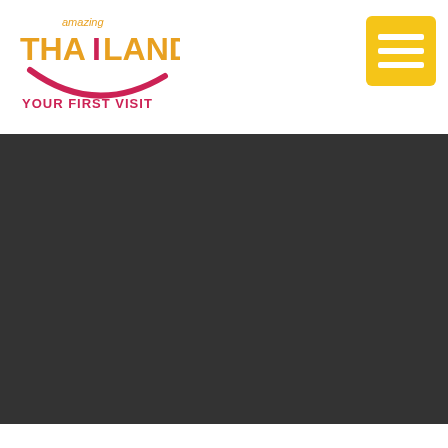[Figure (logo): Amazing Thailand Your First Visit logo with yellow and pink text and a decorative swoosh]
[Figure (other): Yellow hamburger menu button with three white lines]
Business Office
A-12/4 Ground Floor, Vasant Vihar,
New Delhi - 110057
Delhi, India
Phone: +91-11-46741111
Email: tatdel@tat.or.th
We use cookies on our website to give you the most relevant experience by remembering your preferences and repeat visits. By clicking “Accept All”, you consent to the use of ALL the cookies. However, you may visit “Cookie Settings” to provide a controlled consent.